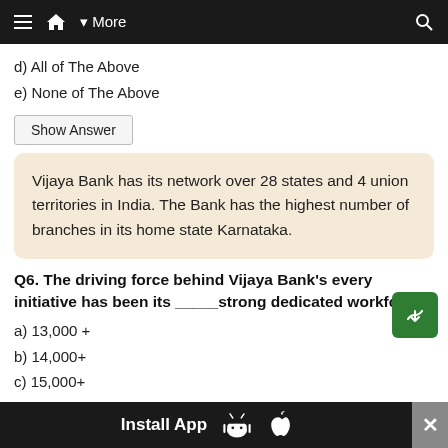≡  ⌂  ▾ More    🔍
d) All of The Above
e) None of The Above
Show Answer
Vijaya Bank has its network over 28 states and 4 union territories in India. The Bank has the highest number of branches in its home state Karnataka.
Q6. The driving force behind Vijaya Bank's every initiative has been its _____strong dedicated workforce:
a) 13,000 +
b) 14,000+
c) 15,000+
d) None of The Above
Install App  [Android] [Apple]  ✕